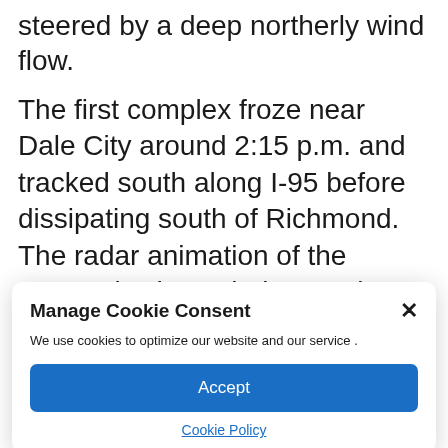steered by a deep northerly wind flow.
The first complex froze near Dale City around 2:15 p.m. and tracked south along I-95 before dissipating south of Richmond. The radar animation of the system is shown below. In the animation, the left panel shows radar reflectivity (rain intensity) while the right panel reveals Doppler-derived wind speed.
The... (cut off)
Manage Cookie Consent
We use cookies to optimize our website and our service .
Accept
Cookie Policy